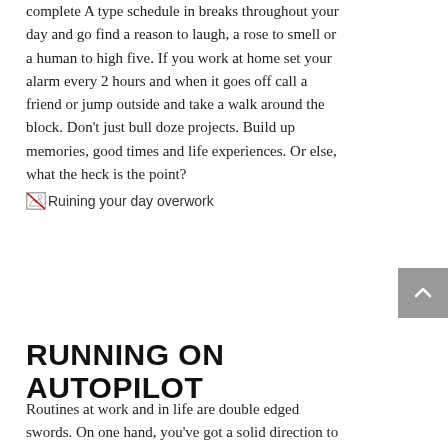complete A type schedule in breaks throughout your day and go find a reason to laugh, a rose to smell or a human to high five. If you work at home set your alarm every 2 hours and when it goes off call a friend or jump outside and take a walk around the block. Don't just bull doze projects. Build up memories, good times and life experiences. Or else, what the heck is the point?
[Figure (photo): Broken image placeholder with alt text 'Ruining your day overwork']
RUNNING ON AUTOPILOT
Routines at work and in life are double edged swords. On one hand, you've got a solid direction to follow. Great right? Wrong. Remember that other hand? The